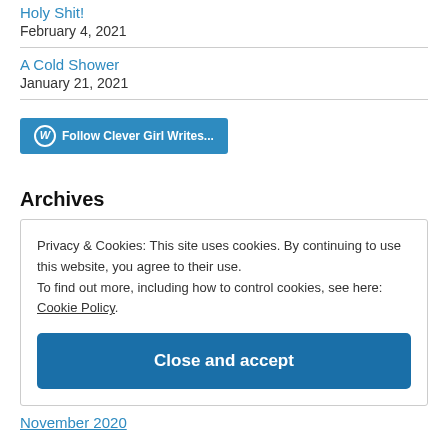Holy Shit!
February 4, 2021
A Cold Shower
January 21, 2021
[Figure (other): Follow Clever Girl Writes... button with WordPress icon]
Archives
Privacy & Cookies: This site uses cookies. By continuing to use this website, you agree to their use.
To find out more, including how to control cookies, see here: Cookie Policy
Close and accept
November 2020